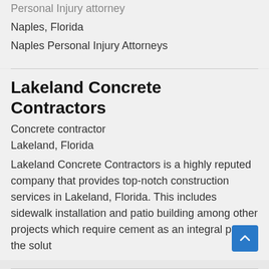Personal Injury attorney
Naples, Florida
Naples Personal Injury Attorneys
Lakeland Concrete Contractors
Concrete contractor
Lakeland, Florida
Lakeland Concrete Contractors is a highly reputed company that provides top-notch construction services in Lakeland, Florida. This includes sidewalk installation and patio building among other projects which require cement as an integral part of the solut